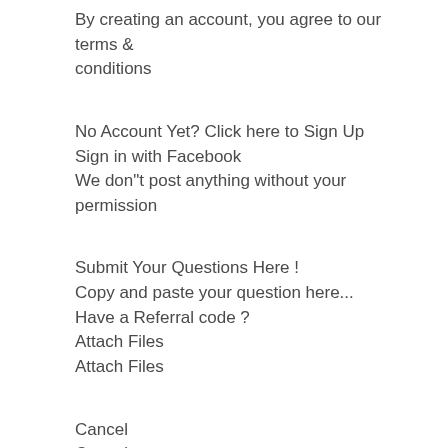By creating an account, you agree to our terms & conditions
No Account Yet? Click here to Sign Up
Sign in with Facebook
We don"t post anything without your permission
Submit Your Questions Here !
Copy and paste your question here...
Have a Referral code ?
Attach Files
Attach Files
Cancel
Cancel
Cancel
Cancel